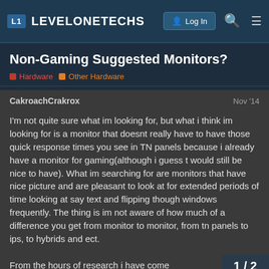L1 LEVELONETECHS — Log In
Non-Gaming Suggested Monitors?
Hardware  Other Hardware
CakroachCrakrox  Nov '14
I'm not quite sure what im looking for, but what i think im looking for is a monitor that doesnt really have to have those quick response times you see in TN panels because i already have a monitor for gaming(although i guess t would still be nice to have). What im searching for are monitors that have nice picture and are pleasant to look at for extended periods of time looking at say text and flipping though windows frequently. The thing is im not aware of how much of a difference you get from monitor to monitor, from tn panels to ips, to hybrids and ect.

From the hours of research i have come
1 / 2